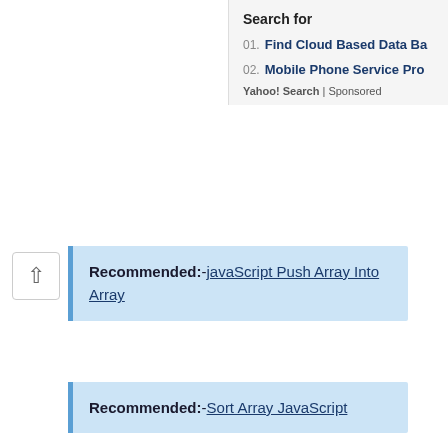Search for
01. Find Cloud Based Data Ba
02. Mobile Phone Service Pro
Yahoo! Search | Sponsored
Recommended:-javaScript Push Array Into Array
Recommended:-Sort Array JavaScript
Recommended:-JavaScript Find Position of Element in Array